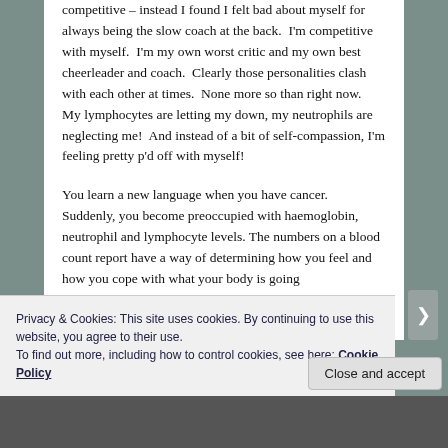competitive – instead I found I felt bad about myself for always being the slow coach at the back.  I'm competitive with myself.  I'm my own worst critic and my own best cheerleader and coach.  Clearly those personalities clash with each other at times.  None more so than right now.  My lymphocytes are letting my down, my neutrophils are neglecting me!  And instead of a bit of self-compassion, I'm feeling pretty p'd off with myself!
You learn a new language when you have cancer.  Suddenly, you become preoccupied with haemoglobin, neutrophil and lymphocyte levels. The numbers on a blood count report have a way of determining how you feel and how you cope with what your body is going
Privacy & Cookies: This site uses cookies. By continuing to use this website, you agree to their use.
To find out more, including how to control cookies, see here: Cookie Policy